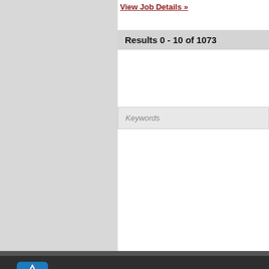View Job Details »
Results 0 - 10 of 1073
Keywords
[Figure (logo): Academic Jobs logo: blue square with white triangle 'A' icon followed by 'Academic Jobs' text in white on dark background]
Academic Jobs
Academic Advertising
260 Peachtree Street, N.W.
Suite 2200
Atlanta, GA 30303
Twitter
LinkedIn
Facebook
Google Plus
Copyr…